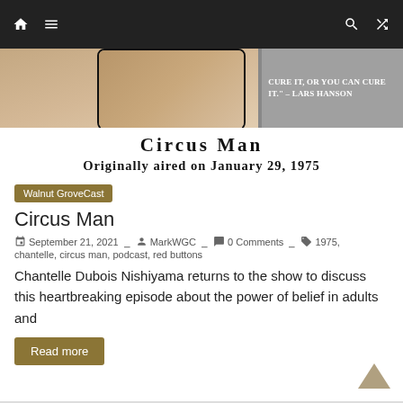Navigation bar with home, menu, search, and shuffle icons
[Figure (photo): Website banner showing a phone with two people and a quote: 'CURE IT, OR YOU CAN CURE IT.' – LARS HANSON]
Circus Man
Originally aired on January 29, 1975
Walnut GroveCast
Circus Man
September 21, 2021   MarkWGC   0 Comments   1975, chantelle, circus man, podcast, red buttons
Chantelle Dubois Nishiyama returns to the show to discuss this heartbreaking episode about the power of belief in adults and
Read more